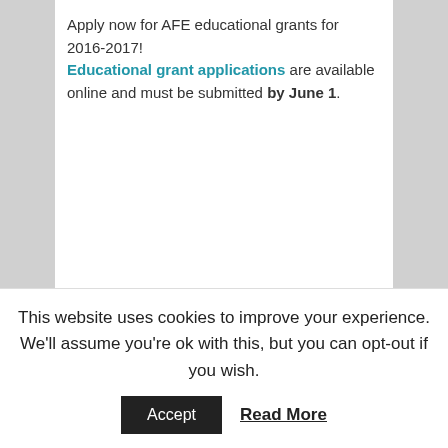Apply now for AFE educational grants for 2016-2017! Educational grant applications are available online and must be submitted by June 1.
[Figure (illustration): Image of books flying out of a laptop screen with flowers, labeled 'Floriculture InfoSearch Engine & AFE Floriculture Library']
A past AFE educational grant helped fund the
AFE educational gra
This website uses cookies to improve your experience. We'll assume you're ok with this, but you can opt-out if you wish.
Accept
Read More